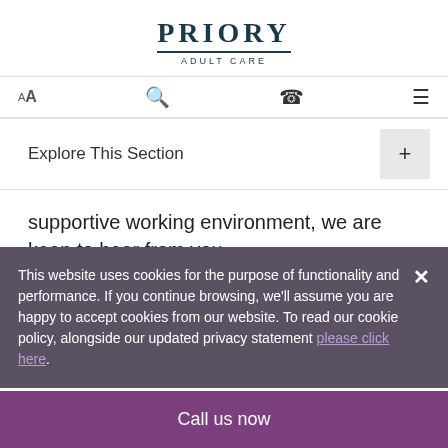[Figure (logo): Priory Adult Care logo — bold serif text 'PRIORY' with underline, subtitle 'ADULT CARE' in small caps]
AA  [search icon]  [phone icon]  [menu icon]
Explore This Section  +
supportive working environment, we are keen to hear from you.
READ MORE
This website uses cookies for the purpose of functionality and performance. If you continue browsing, we'll assume you are happy to accept cookies from our website. To read our cookie policy, alongside our updated privacy statement please click here.
Call us now